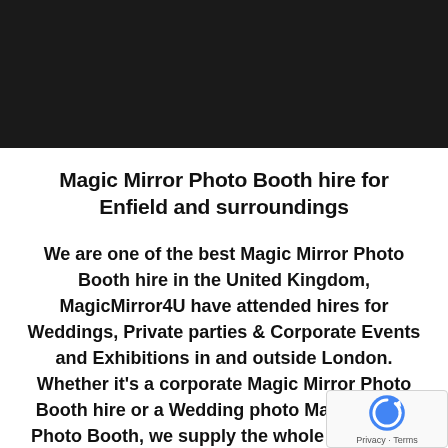[Figure (photo): Dark/black banner image at the top of the page, partially visible]
Magic Mirror Photo Booth hire for Enfield and surroundings
We are one of the best Magic Mirror Photo Booth hire in the United Kingdom, MagicMirror4U have attended hires for Weddings, Private parties & Corporate Events and Exhibitions in and outside London. Whether it's a corporate Magic Mirror Photo Booth hire or a Wedding photo Magic Mirror Photo Booth, we supply the whole of London & Great Britain & ensure the highest quality se...